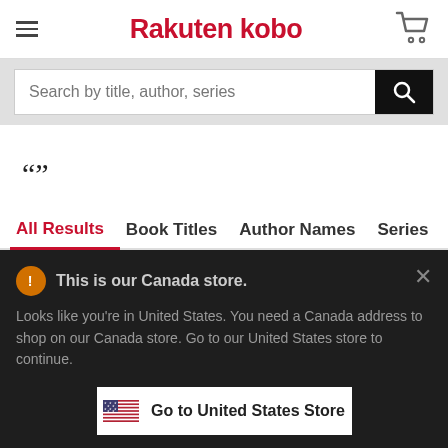Rakuten kobo
Search by title, author, series
“”
All Results	Book Titles	Author Names	Series
This is our Canada store.
Looks like you're in United States. You need a Canada address to shop on our Canada store. Go to our United States store to continue.
Go to United States Store
Choose another store